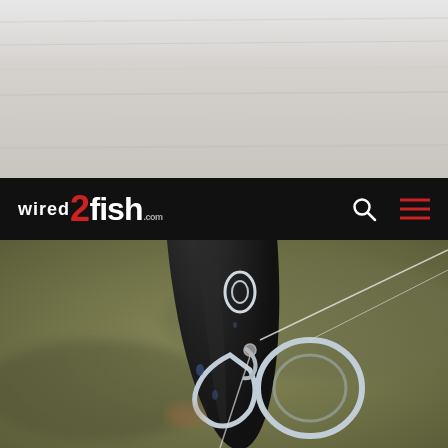[Figure (photo): A light gray wooden plank background texture, serving as the page header background image]
WIRED 2 fish .com — navigation bar with search icon and hamburger menu
[Figure (photo): Close-up photograph of a fishing rod tip with metallic swivel and split ring connector attached, with fishing line running through, blurred olive/brown background]